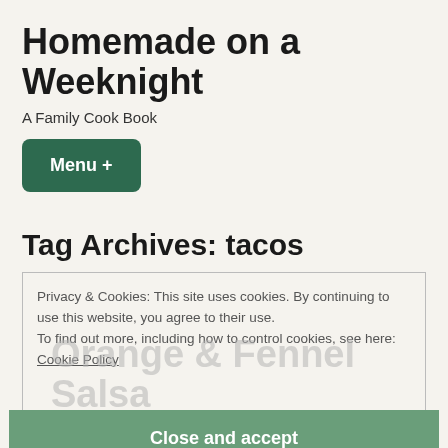Homemade on a Weeknight
A Family Cook Book
Menu +
Tag Archives: tacos
Privacy & Cookies: This site uses cookies. By continuing to use this website, you agree to their use.
To find out more, including how to control cookies, see here: Cookie Policy
Orange & Fennel Salsa
Close and accept
If you have been around the blog for a while, you